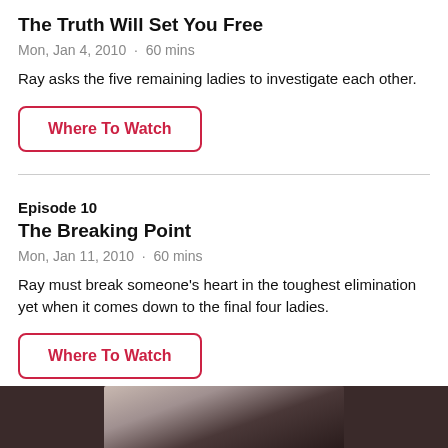The Truth Will Set You Free
Mon, Jan 4, 2010  ·  60 mins
Ray asks the five remaining ladies to investigate each other.
Where To Watch
Episode 10
The Breaking Point
Mon, Jan 11, 2010  ·  60 mins
Ray must break someone's heart in the toughest elimination yet when it comes down to the final four ladies.
Where To Watch
[Figure (photo): Partial photo of a person at the bottom of the page, dark tones]